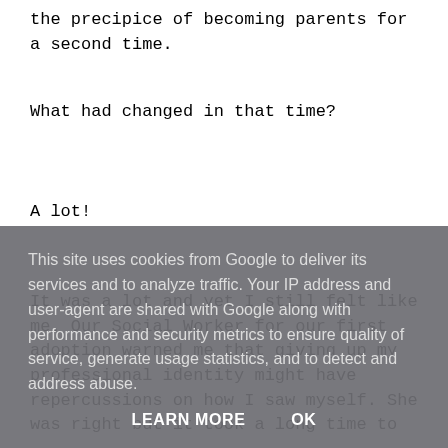the precipice of becoming parents for a second time.
What had changed in that time?
A lot!
It was a lot and yet I still felt like me. Our Social Worker for our first adoption warned me that giving up my professional identity might have repercussions on how I saw myself. She was right but it took a long time to
This site uses cookies from Google to deliver its services and to analyze traffic. Your IP address and user-agent are shared with Google along with performance and security metrics to ensure quality of service, generate usage statistics, and to detect and address abuse.
LEARN MORE    OK